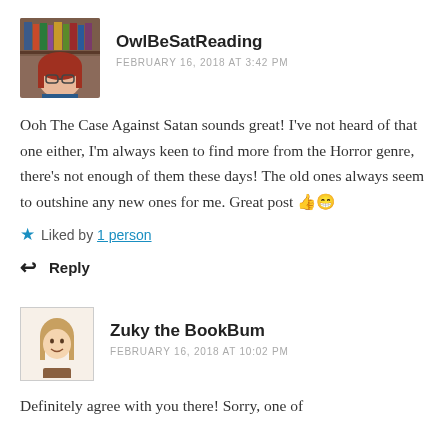[Figure (photo): Avatar photo of OwlBeSatReading showing a woman with red hair and glasses in front of bookshelves]
OwlBeSatReading
FEBRUARY 16, 2018 AT 3:42 PM
Ooh The Case Against Satan sounds great! I've not heard of that one either, I'm always keen to find more from the Horror genre, there's not enough of them these days! The old ones always seem to outshine any new ones for me. Great post 👍😁
Liked by 1 person
Reply
[Figure (illustration): Avatar illustration of Zuky the BookBum showing a cartoon figure with long hair]
Zuky the BookBum
FEBRUARY 16, 2018 AT 10:02 PM
Definitely agree with you there! Sorry, one of...